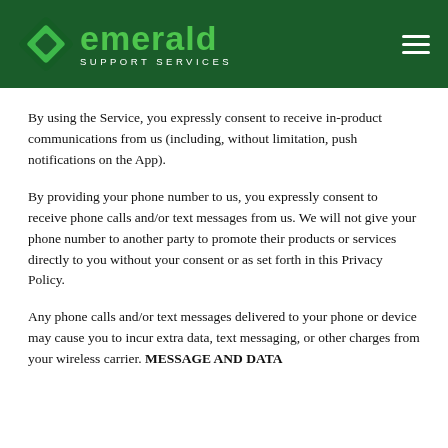emerald SUPPORT SERVICES
By using the Service, you expressly consent to receive in-product communications from us (including, without limitation, push notifications on the App).
By providing your phone number to us, you expressly consent to receive phone calls and/or text messages from us. We will not give your phone number to another party to promote their products or services directly to you without your consent or as set forth in this Privacy Policy.
Any phone calls and/or text messages delivered to your phone or device may cause you to incur extra data, text messaging, or other charges from your wireless carrier. MESSAGE AND DATA